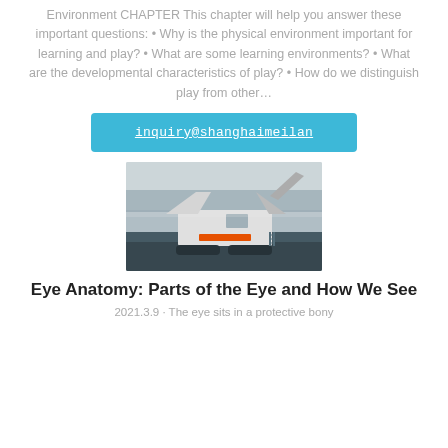Environment CHAPTER This chapter will help you answer these important questions: • Why is the physical environment important for learning and play? • What are some learning environments? • What are the developmental characteristics of play? • How do we distinguish play from other…
inquiry@shanghaimeilan
[Figure (photo): A large industrial mobile crusher/screening machine on tracks in an outdoor setting with trees and mist in the background.]
Eye Anatomy: Parts of the Eye and How We See
2021.3.9 · The eye sits in a protective bony